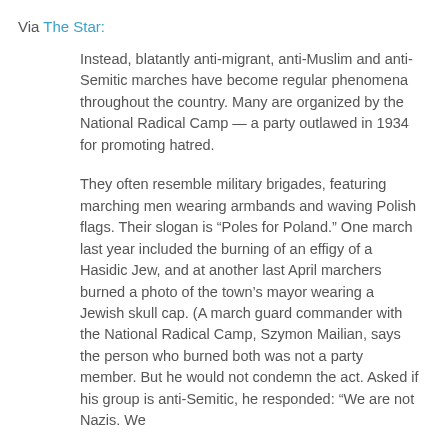Via The Star:
Instead, blatantly anti-migrant, anti-Muslim and anti-Semitic marches have become regular phenomena throughout the country. Many are organized by the National Radical Camp — a party outlawed in 1934 for promoting hatred.
They often resemble military brigades, featuring marching men wearing armbands and waving Polish flags. Their slogan is “Poles for Poland.” One march last year included the burning of an effigy of a Hasidic Jew, and at another last April marchers burned a photo of the town’s mayor wearing a Jewish skull cap. (A march guard commander with the National Radical Camp, Szymon Mailian, says the person who burned both was not a party member. But he would not condemn the act. Asked if his group is anti-Semitic, he responded: “We are not Nazis. We